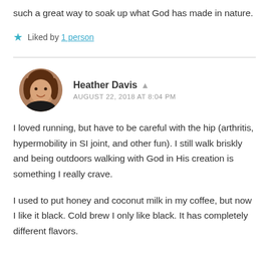such a great way to soak up what God has made in nature.
★ Liked by 1 person
Heather Davis  ▲
AUGUST 22, 2018 AT 8:04 PM
I loved running, but have to be careful with the hip (arthritis, hypermobility in SI joint, and other fun). I still walk briskly and being outdoors walking with God in His creation is something I really crave.
I used to put honey and coconut milk in my coffee, but now I like it black. Cold brew I only like black. It has completely different flavors.